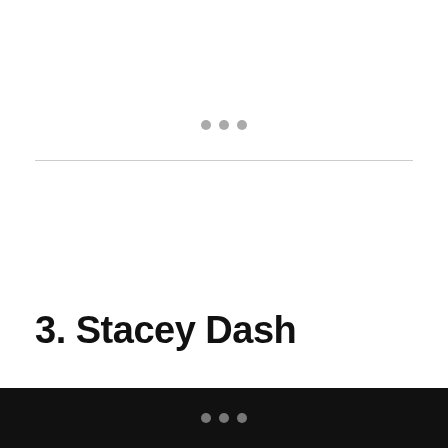[Figure (other): Three gray dots centered above a horizontal divider line]
3. Stacey Dash
[Figure (photo): Partial photo showing a teal/turquoise background with white vertical bars on the left and partial circular/letter shapes visible]
• • •